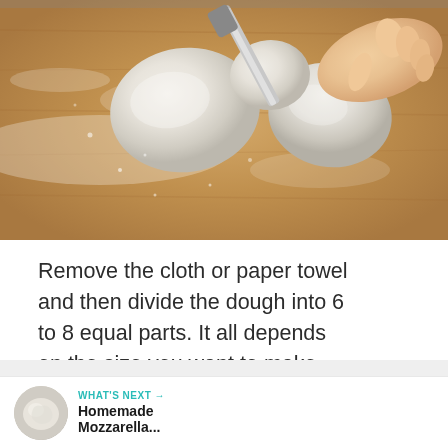[Figure (photo): Hands dividing bread dough on a floured wooden surface with a knife/scraper]
Remove the cloth or paper towel and then divide the dough into 6 to 8 equal parts. It all depends on the size you want to make your flatbread. I like them on the smaller side personally. But again you made adjust the size to fit what you are using it for.
[Figure (other): What's Next panel showing Homemade Mozzarella... with thumbnail image]